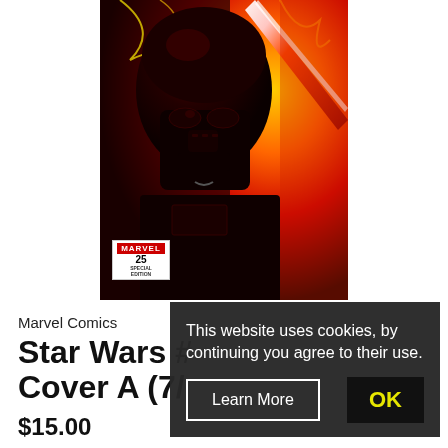[Figure (illustration): Darth Vader comic book cover art showing Vader's helmet/face with red lightsaber and fire/lightning background. Marvel Comics issue #25 badge visible in lower left corner.]
Marvel Comics
Star Wars # Cover A (7/
$15.00
This website uses cookies, by continuing you agree to their use.
Learn More
OK